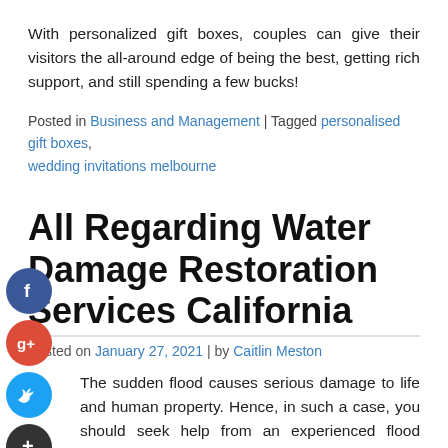With personalized gift boxes, couples can give their visitors the all-around edge of being the best, getting rich support, and still spending a few bucks!
Posted in Business and Management | Tagged personalised gift boxes, wedding invitations melbourne
All Regarding Water Damage Restoration Services California
Posted on January 27, 2021 | by Caitlin Meston
The sudden flood causes serious damage to life and human property. Hence, in such a case, you should seek help from an experienced flood repair company to ensure the safety of your property. In general, there are two types of flood action:
Damage due to internal flooding, namely damage due to water leakage or bathroom malfunction. The other is external damage